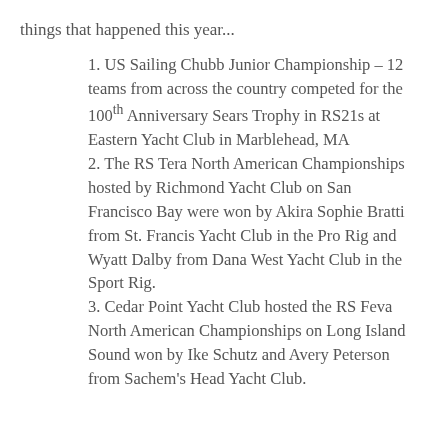things that happened this year...
1. US Sailing Chubb Junior Championship – 12 teams from across the country competed for the 100th Anniversary Sears Trophy in RS21s at Eastern Yacht Club in Marblehead, MA
2. The RS Tera North American Championships hosted by Richmond Yacht Club on San Francisco Bay were won by Akira Sophie Bratti from St. Francis Yacht Club in the Pro Rig and Wyatt Dalby from Dana West Yacht Club in the Sport Rig.
3. Cedar Point Yacht Club hosted the RS Feva North American Championships on Long Island Sound won by Ike Schutz and Avery Peterson from Sachem's Head Yacht Club.